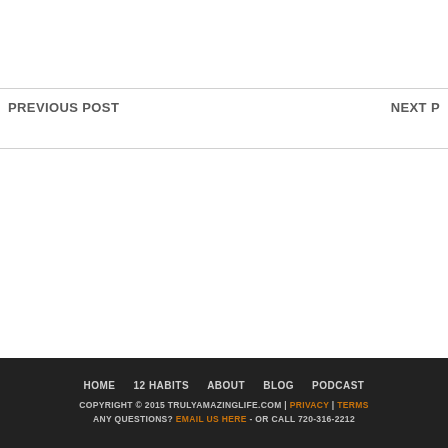PREVIOUS POST
NEXT P
HOME   12 HABITS   ABOUT   BLOG   PODCAST
COPYRIGHT © 2015 TRULYAMAZINGLIFE.COM | PRIVACY | TERMS
ANY QUESTIONS? EMAIL US HERE - OR CALL 720-316-2212